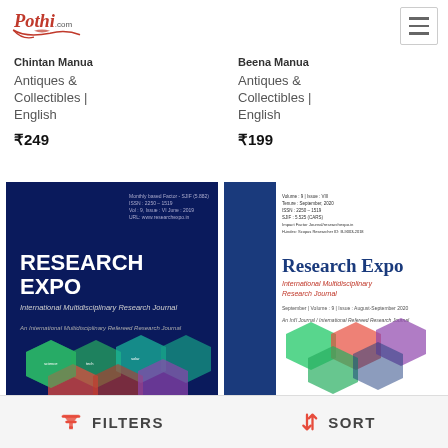Pothi.com
Chintan Manua
Antiques & Collectibles | English
₹249
Beena Manua
Antiques & Collectibles | English
₹199
[Figure (photo): Book cover: Research Expo International Multidisciplinary Research Journal - dark blue cover with hexagonal image collage]
[Figure (photo): Book cover: Research Expo International Multidisciplinary Research Journal - white and blue cover with hexagonal image collage]
FILTERS   SORT